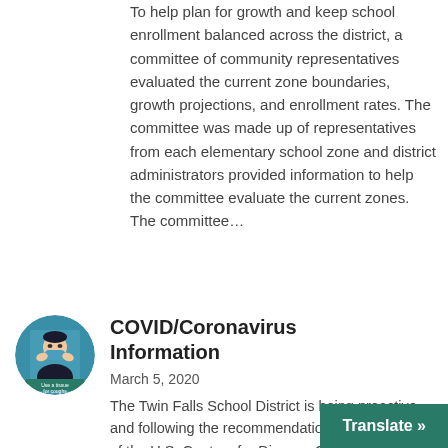To help plan for growth and keep school enrollment balanced across the district, a committee of community representatives evaluated the current zone boundaries, growth projections, and enrollment rates. The committee was made up of representatives from each elementary school zone and district administrators provided information to help the committee evaluate the current zones. The committee…
[Figure (illustration): Circular illustration of a person wearing a face mask with text 'Use a tissue for coughs' at the bottom, related to COVID-19 health guidance.]
COVID/Coronavirus Information
March 5, 2020
The Twin Falls School District is being proactive and following the recommendations and guidelines of the U.S. Centers for Disease Control and Prevention in preparation for potential local cases of cor…